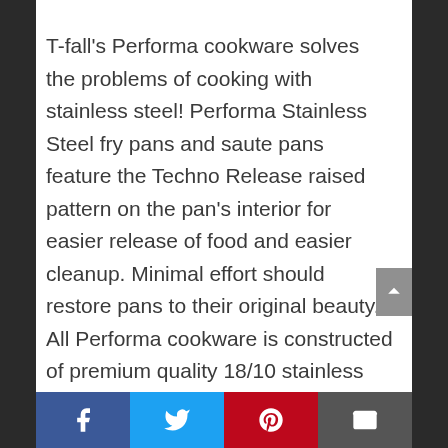T-fall's Performa cookware solves the problems of cooking with stainless steel! Performa Stainless Steel fry pans and saute pans feature the Techno Release raised pattern on the pan's interior for easier release of food and easier cleanup. Minimal effort should restore pans to their original beauty. All Performa cookware is constructed of premium quality 18/10 stainless steel and is compatible with all cooktops, including induction. The riveted stainless steel handles provide an ergonomic and secure grip. Performa Stainless Steel cookware is also dishwasher safe and oven safe. The vented...